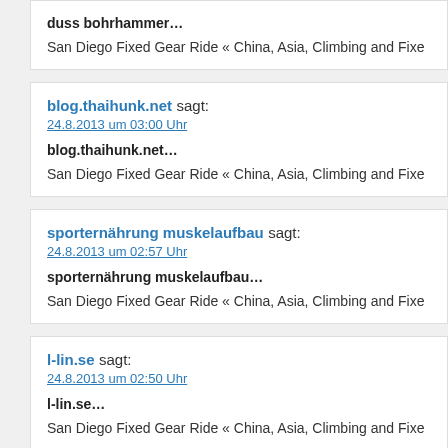duss bohrhammer…
San Diego Fixed Gear Ride « China, Asia, Climbing and Fixe
blog.thaihunk.net sagt:
24.8.2013 um 03:00 Uhr
blog.thaihunk.net…
San Diego Fixed Gear Ride « China, Asia, Climbing and Fixe
sporternährung muskelaufbau sagt:
24.8.2013 um 02:57 Uhr
sporternährung muskelaufbau…
San Diego Fixed Gear Ride « China, Asia, Climbing and Fixe
l-lin.se sagt:
24.8.2013 um 02:50 Uhr
l-lin.se…
San Diego Fixed Gear Ride « China, Asia, Climbing and Fixe